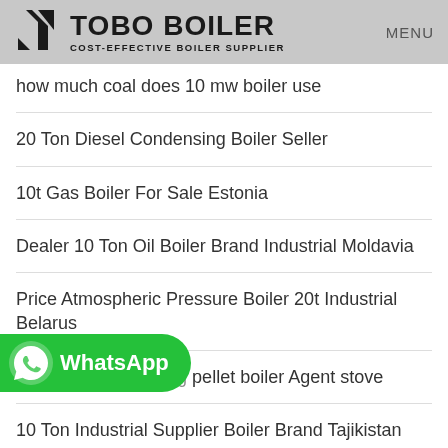TOBO BOILER COST-EFFECTIVE BOILER SUPPLIER MENU
how much coal does 10 mw boiler use
20 Ton Diesel Condensing Boiler Seller
10t Gas Boiler For Sale Estonia
Dealer 10 Ton Oil Boiler Brand Industrial Moldavia
Price Atmospheric Pressure Boiler 20t Industrial Belarus
easy use civil heating pellet boiler Agent stove
10 Ton Industrial Supplier Boiler Brand Tajikistan
[Figure (logo): WhatsApp contact button with green background]